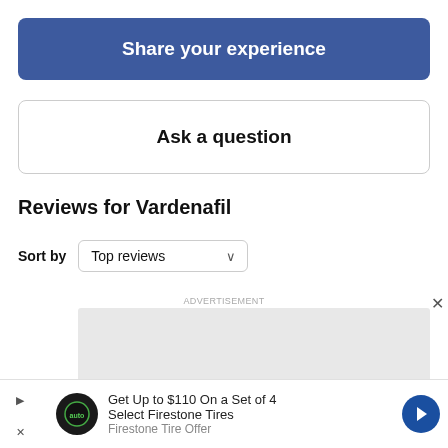Share your experience
Ask a question
Reviews for Vardenafil
Sort by  Top reviews
ADVERTISEMENT
[Figure (other): Gray advertisement placeholder box]
ADVERTISEMENT
[Figure (other): Bottom banner advertisement for Firestone Tires showing logo, text 'Get Up to $110 On a Set of 4 Select Firestone Tires' and a blue arrow navigation icon]